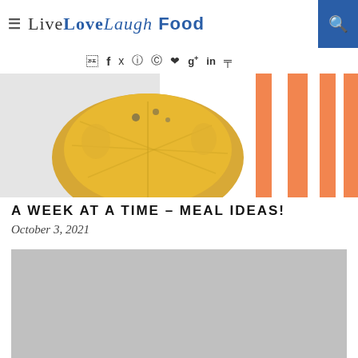Live Love Laugh Food
[Figure (other): Social media icons: facebook, twitter, instagram, pinterest, heart, google+, linkedin, rss]
[Figure (photo): Top food photo showing a grilled or roasted lemon on an orange and white striped cloth]
A WEEK AT A TIME – MEAL IDEAS!
October 3, 2021
[Figure (photo): Gray placeholder image for a food photo]